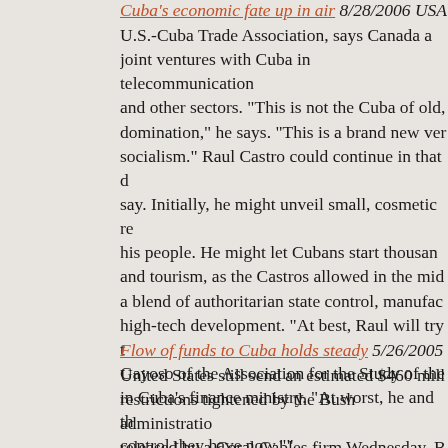Cuba's economic fate up in air  8/28/2006 USA
U.S.-Cuba Trade Association, says Canada and joint ventures with Cuba in telecommunications and other sectors. "This is not the Cuba of old domination," he says. "This is a brand new version of socialism." Raul Castro could continue in that say. Initially, he might unveil small, cosmetic reforms for his people. He might let Cubans start thousands and tourism, as the Castros allowed in the mid a blend of authoritarian state control, manufacturing high-tech development. "At best, Raul will try to Gayoso of the Association for the Study of the in Cuba's finance ministry. "At worst, he and the control they have now.""
Flow of funds to Cuba holds steady  5/26/2005
United States still send an estimated $460 million restrictions tightened by the Bush administration released by a Coral Gables firm Wednesday. B who receive the cash transfers believe they are separate and less scientific survey conducted think tank. The assumption: That Fidel Castro's remittances, one of the key sources of income devastated by the 1990s collapse of Soviet support much money is arriving, [the Cuban government